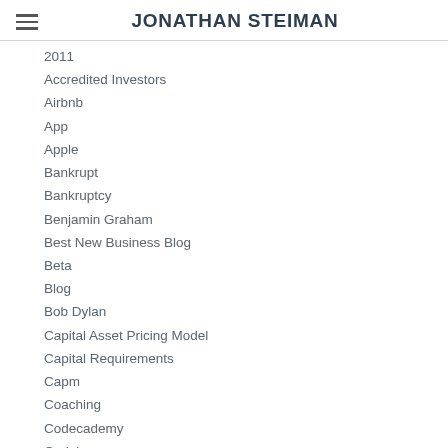JONATHAN STEIMAN
2011
Accredited Investors
Airbnb
App
Apple
Bankrupt
Bankruptcy
Benjamin Graham
Best New Business Blog
Beta
Blog
Bob Dylan
Capital Asset Pricing Model
Capital Requirements
Capm
Coaching
Codecademy
Codelesson
Competitive Strategy
Continuous Improvement